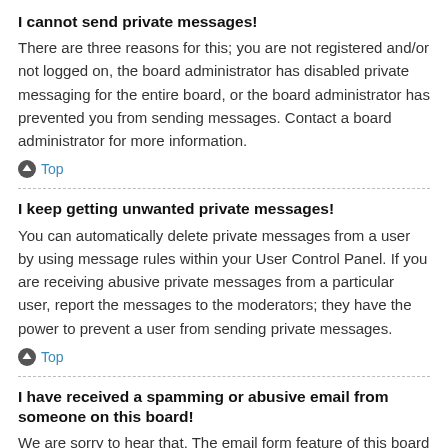I cannot send private messages!
There are three reasons for this; you are not registered and/or not logged on, the board administrator has disabled private messaging for the entire board, or the board administrator has prevented you from sending messages. Contact a board administrator for more information.
Top
I keep getting unwanted private messages!
You can automatically delete private messages from a user by using message rules within your User Control Panel. If you are receiving abusive private messages from a particular user, report the messages to the moderators; they have the power to prevent a user from sending private messages.
Top
I have received a spamming or abusive email from someone on this board!
We are sorry to hear that. The email form feature of this board includes safeguards to try and track users who send such posts, so email the